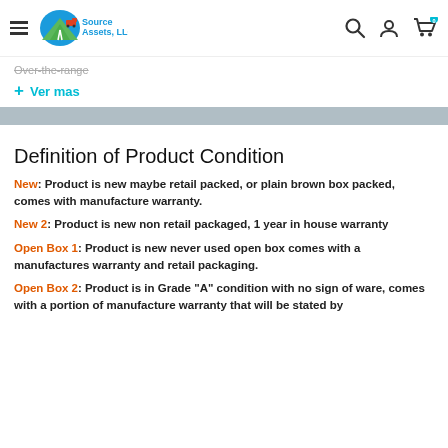[Figure (logo): Source Assets LLC logo with hamburger menu icon on left and search, account, cart icons on right]
Over-the-range
+ Ver mas
Definition of Product Condition
New: Product is new maybe retail packed, or plain brown box packed, comes with manufacture warranty.
New 2: Product is new non retail packaged, 1 year in house warranty
Open Box 1: Product is new never used open box comes with a manufactures warranty and retail packaging.
Open Box 2: Product is in Grade "A" condition with no sign of ware, comes with a portion of manufacture warranty that will be stated by